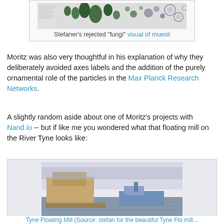[Figure (illustration): Stefaner's rejected fungi visual of muesli — small colored circular shapes arranged in rows against a white background]
Stefaner's rejected "fungi" visual of muesli
Moritz was also very thoughtful in his explanation of why they deliberately avoided axes labels and the addition of the purely ornamental role of the particles in the Max Planck Research Networks.
A slightly random aside about one of Moritz's projects with Nand.io -- but if like me you wondered what that floating mill on the River Tyne looks like:
[Figure (photo): Photo of a floating wooden mill building on the River Tyne with a boat passing by and a cityscape in the background]
Tyne Floating Mill (Source: stefan for the beautiful Tyne Flo mill...